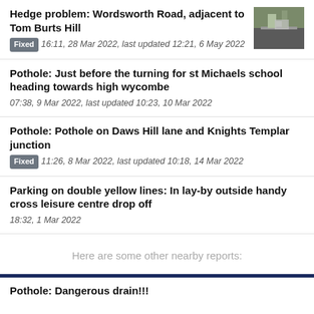Hedge problem: Wordsworth Road, adjacent to Tom Burts Hill
Fixed 16:11, 28 Mar 2022, last updated 12:21, 6 May 2022
[Figure (photo): Photo of a road with hedges and a car visible]
Pothole: Just before the turning for st Michaels school heading towards high wycombe
07:38, 9 Mar 2022, last updated 10:23, 10 Mar 2022
Pothole: Pothole on Daws Hill lane and Knights Templar junction
Fixed 11:26, 8 Mar 2022, last updated 10:18, 14 Mar 2022
Parking on double yellow lines: In lay-by outside handy cross leisure centre drop off
18:32, 1 Mar 2022
Here are some other nearby reports:
Pothole: Dangerous drain!!!